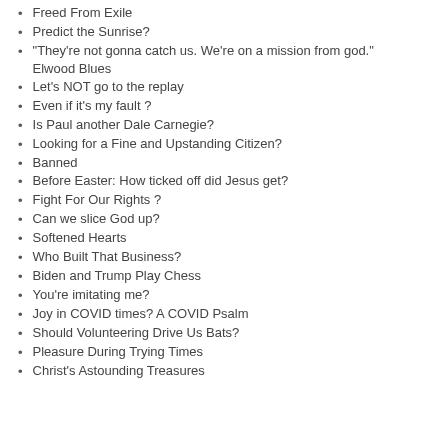Freed From Exile
Predict the Sunrise?
“They’re not gonna catch us. We’re on a mission from god.” Elwood Blues
Let’s NOT go to the replay
Even if it’s my fault ?
Is Paul another Dale Carnegie?
Looking for a Fine and Upstanding Citizen?
Banned
Before Easter: How ticked off did Jesus get?
Fight For Our Rights ?
Can we slice God up?
Softened Hearts
Who Built That Business?
Biden and Trump Play Chess
You’re imitating me?
Joy in COVID times? A COVID Psalm
Should Volunteering Drive Us Bats?
Pleasure During Trying Times
Christ’s Astounding Treasures